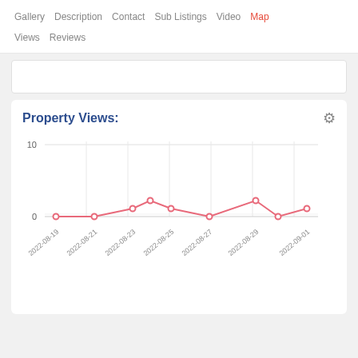Gallery  Description  Contact  Sub Listings  Video  Map  Views  Reviews
[Figure (line-chart): Property Views:]